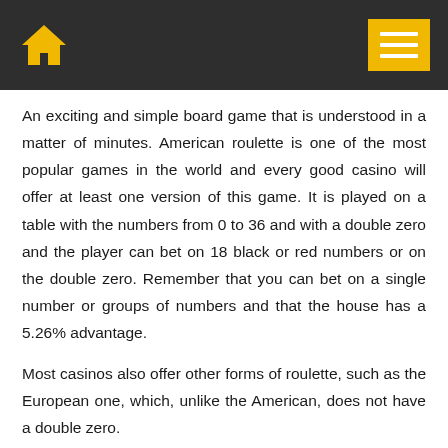Home / Menu
An exciting and simple board game that is understood in a matter of minutes. American roulette is one of the most popular games in the world and every good casino will offer at least one version of this game. It is played on a table with the numbers from 0 to 36 and with a double zero and the player can bet on 18 black or red numbers or on the double zero. Remember that you can bet on a single number or groups of numbers and that the house has a 5.26% advantage.
Most casinos also offer other forms of roulette, such as the European one, which, unlike the American, does not have a double zero.
Dices